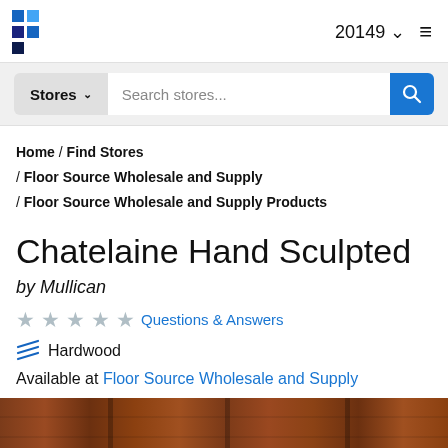20149
Stores  Search stores...
Home / Find Stores / Floor Source Wholesale and Supply / Floor Source Wholesale and Supply Products
Chatelaine Hand Sculpted
by Mullican
☆☆☆☆☆  Questions & Answers
Hardwood
Available at Floor Source Wholesale and Supply
[Figure (photo): Wood flooring product photo showing hand sculpted hardwood planks in a warm brown/reddish-brown tone]